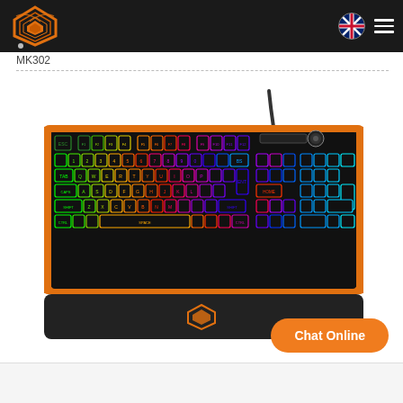MK302 - Gaming Keyboard Product Page
MK302
[Figure (photo): A black gaming keyboard (MK302) with RGB rainbow backlighting, orange trim accents, a wrist rest at the bottom, USB cable at the top, and the brand logo embossed on the wrist rest.]
Chat Online